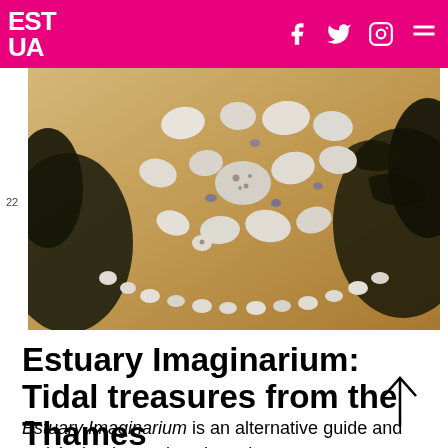EST UA — f [Facebook] [Twitter] [Instagram] [Menu]
[Figure (photo): Close-up photograph of white stones and pebbles arranged in a pattern on sandy beach with dark seaweed/kelp visible around the edges. The pebbles form a circular or arc arrangement on the golden-brown sand.]
Estuary Imaginarium: Tidal treasures from the Thames
Estuary Imaginarium is an alternative guide and activity book to enjoy along the